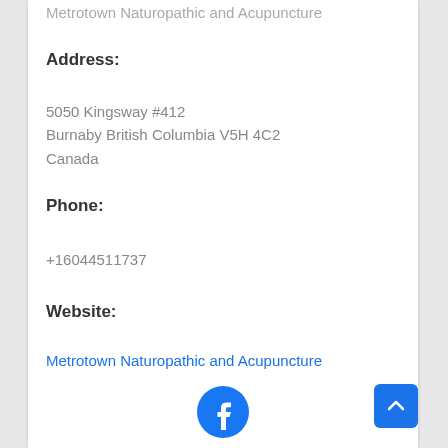Metrotown Naturopathic and Acupuncture
Address:
5050 Kingsway #412
Burnaby British Columbia V5H 4C2
Canada
Phone:
+16044511737
Website:
Metrotown Naturopathic and Acupuncture